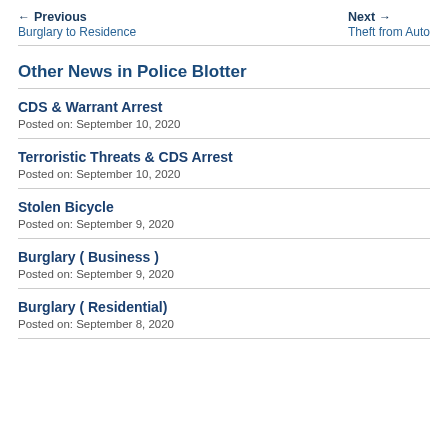← Previous  Burglary to Residence    Next →  Theft from Auto
Other News in Police Blotter
CDS & Warrant Arrest
Posted on: September 10, 2020
Terroristic Threats & CDS Arrest
Posted on: September 10, 2020
Stolen Bicycle
Posted on: September 9, 2020
Burglary ( Business )
Posted on: September 9, 2020
Burglary ( Residential)
Posted on: September 8, 2020